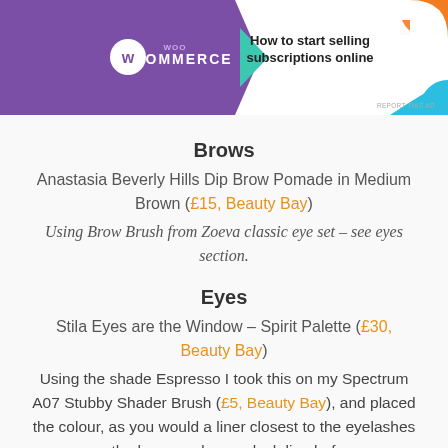[Figure (screenshot): WooCommerce advertisement banner with purple left section showing WooCommerce logo with white circle W icon, teal arrow shape, and white right section with text 'How to start selling subscriptions online' with orange and blue decorative shapes. Report this ad text at bottom right.]
Brows
Anastasia Beverly Hills Dip Brow Pomade in Medium Brown (£15, Beauty Bay)
Using Brow Brush from Zoeva classic eye set – see eyes section.
Eyes
Stila Eyes are the Window – Spirit Palette (£30, Beauty Bay)
Using the shade Espresso I took this on my Spectrum A07 Stubby Shader Brush (£5, Beauty Bay), and placed the colour, as you would a liner closest to the eyelashes on the lower and upper lash line before